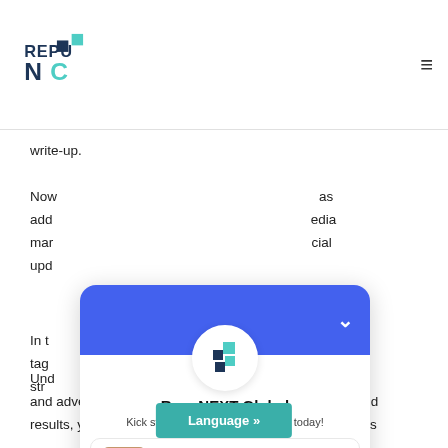[Figure (logo): RepuNEXT logo with teal and dark blue square icons and stylized NC text]
write-up.
Now... as additional... media marketing... social updates...
In the... hashtag... tagline... tion string...
[Figure (screenshot): RepuNEXT Global chat widget overlay showing logo, tagline 'Kick start your project. and call us today!', and two agent contact rows: Daniel Williams and Andrew Stevens (Sales Director), each with a bell/chat icon]
Und... ting and advertising on socials media. For getting fantastic end results, you need to... of a hashtag that is
Language »